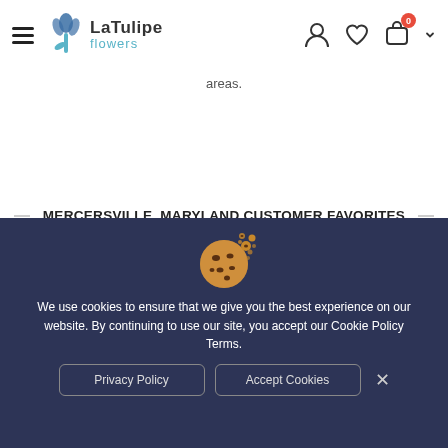[Figure (screenshot): La Tulipe Flowers website header with hamburger menu, logo, and icons for account, wishlist, and cart (showing 0)]
areas.
MERCERSVILLE, MARYLAND CUSTOMER FAVORITES
[Figure (photo): Flower arrangement with yellow sunflowers and orange/pink roses]
[Figure (photo): Designers Choice floral arrangement with text overlay on flowers background]
[Figure (infographic): Cookie consent banner with cookie emoji icon, privacy policy text, and Accept Cookies/Privacy Policy buttons]